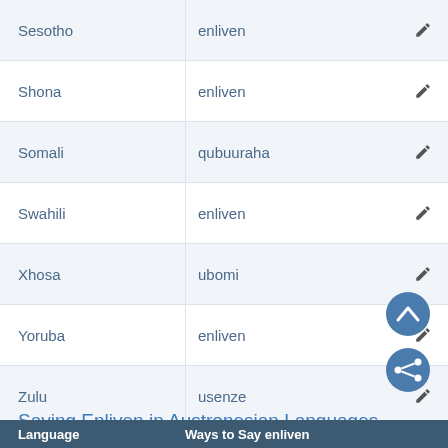| Language | Ways to Say enliven |
| --- | --- |
| Sesotho | enliven |
| Shona | enliven |
| Somali | qubuuraha |
| Swahili | enliven |
| Xhosa | ubomi |
| Yoruba | enliven |
| Zulu | usenze |
Saying Enliven in Austronesian Languages
Language   Ways to Say enliven